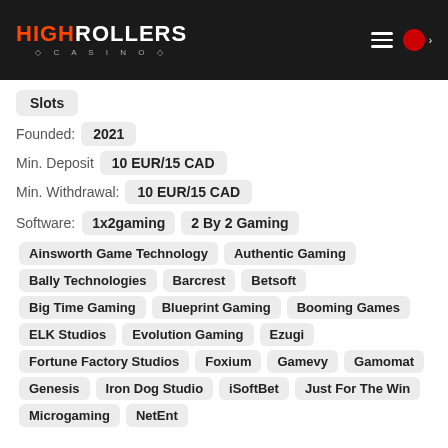HighRollers Casino
Slots
Founded: 2021
Min. Deposit  10 EUR/15 CAD
Min. Withdrawal:  10 EUR/15 CAD
Software:  1x2gaming  2 By 2 Gaming  Ainsworth Game Technology  Authentic Gaming  Bally Technologies  Barcrest  Betsoft  Big Time Gaming  Blueprint Gaming  Booming Games  ELK Studios  Evolution Gaming  Ezugi  Fortune Factory Studios  Foxium  Gamevy  Gamomat  Genesis  Iron Dog Studio  iSoftBet  Just For The Win  Microgaming  NetEnt